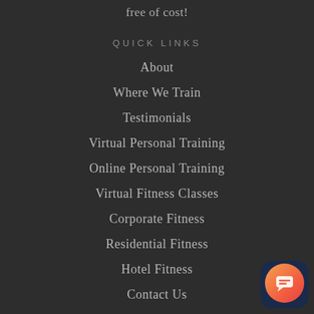free of cost!
QUICK LINKS
About
Where We Train
Testimonials
Virtual Personal Training
Online Personal Training
Virtual Fitness Classes
Corporate Fitness
Residential Fitness
Hotel Fitness
Contact Us
Blog
City Directory
[Figure (illustration): Orange gradient chat/message button icon in bottom-right corner with dark navy rounded square background]